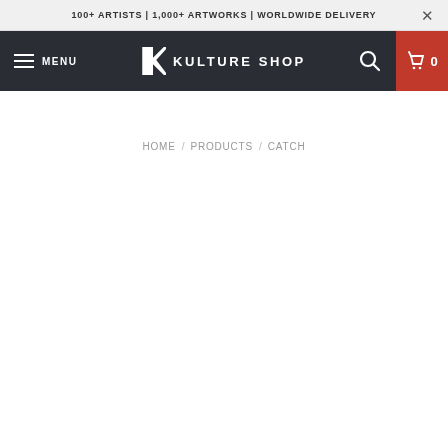100+ ARTISTS | 1,000+ ARTWORKS | WORLDWIDE DELIVERY
MENU  KULTURE SHOP  0
HOME / PRODUCTS / CATCH